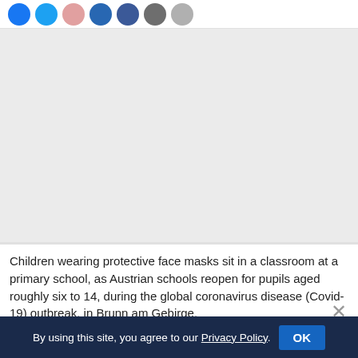Social share icons
[Figure (photo): Large grey placeholder area representing a photo of children wearing face masks in a classroom]
Children wearing protective face masks sit in a classroom at a primary school, as Austrian schools reopen for pupils aged roughly six to 14, during the global coronavirus disease (Covid-19) outbreak, in Brunn am Gebirge, Austria, 18 May 2020...
By using this site, you agree to our Privacy Policy. OK